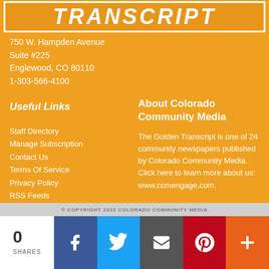[Figure (logo): Golden Transcript masthead logo — orange rectangle with white border and italic bold white text TRANSCRIPT]
750 W. Hampden Avenue
Suite #225
Englewood, CO 80110
1-303-566-4100
Useful Links
About Colorado Community Media
Staff Directory
Manage Subscription
Contact Us
Terms Of Service
Privacy Policy
RSS Feeds
Pick up your newspaper
The Golden Transcript is one of 24 community newspapers published by Colorado Community Media. Click here to learn more about us: www.ccmengage.com.
© COPYRIGHT 2022 COLORADO COMMUNITY MEDIA
0
SHARES